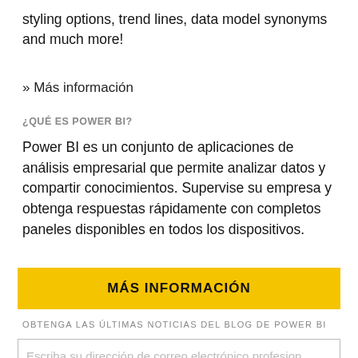styling options, trend lines, data model synonyms and much more!
» Más información
¿QUÉ ES POWER BI?
Power BI es un conjunto de aplicaciones de análisis empresarial que permite analizar datos y compartir conocimientos. Supervise su empresa y obtenga respuestas rápidamente con completos paneles disponibles en todos los dispositivos.
MÁS INFORMACIÓN
OBTENGA LAS ÚLTIMAS NOTICIAS DEL BLOG DE POWER BI
Escriba su dirección de correo electrónico profesion